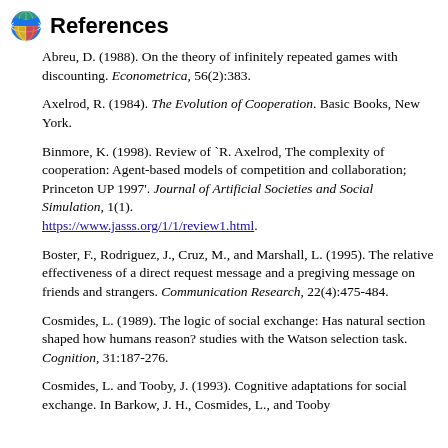References
Abreu, D. (1988). On the theory of infinitely repeated games with discounting. Econometrica, 56(2):383.
Axelrod, R. (1984). The Evolution of Cooperation. Basic Books, New York.
Binmore, K. (1998). Review of `R. Axelrod, The complexity of cooperation: Agent-based models of competition and collaboration; Princeton UP 1997'. Journal of Artificial Societies and Social Simulation, 1(1). https://www.jasss.org/1/1/review1.html.
Boster, F., Rodriguez, J., Cruz, M., and Marshall, L. (1995). The relative effectiveness of a direct request message and a pregiving message on friends and strangers. Communication Research, 22(4):475-484.
Cosmides, L. (1989). The logic of social exchange: Has natural section shaped how humans reason? studies with the Watson selection task. Cognition, 31:187-276.
Cosmides, L. and Tooby, J. (1993). Cognitive adaptations for social exchange. In Barkow, J. H., Cosmides, L., and Tooby...